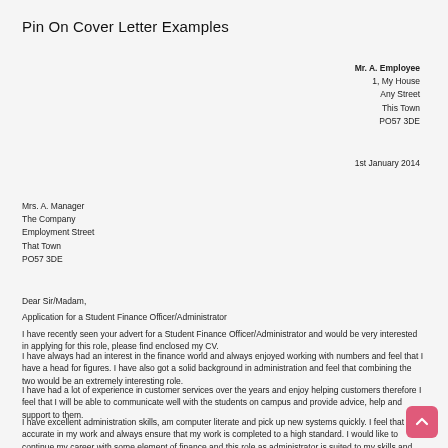Pin On Cover Letter Examples
Mr. A. Employee
1, My House
Any Street
This Town
PO57 3DE
1st January 2014
Mrs. A. Manager
The Company
Employment Street
That Town
PO57 3DE
Dear Sir/Madam,
Application for a Student Finance Officer/Administrator
I have recently seen your advert for a Student Finance Officer/Administrator and would be very interested in applying for this role, please find enclosed my CV.
I have always had an interest in the finance world and always enjoyed working with numbers and feel that I have a head for figures. I have also got a solid background in administration and feel that combining the two would be an extremely interesting role.
I have had a lot of experience in customer services over the years and enjoy helping customers therefore I feel that I will be able to communicate well with the students on campus and provide advice, help and support to them.
I have excellent administration skills, am computer literate and pick up new systems quickly. I feel that I am accurate in my work and always ensure that my work is completed to a high standard. I would like to continue my career with some element of finance and this role as administrator is suited to my skills and